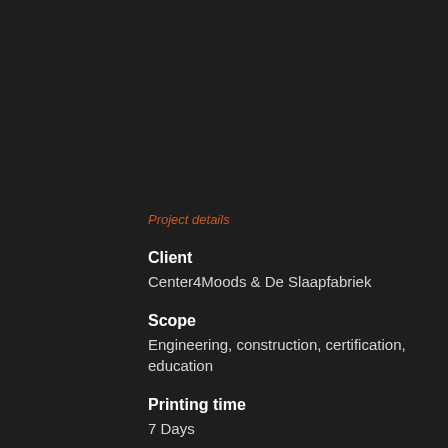Project details
Client
Center4Moods & De Slaapfabriek
Scope
Engineering, construction, certification, education
Printing time
7 Days